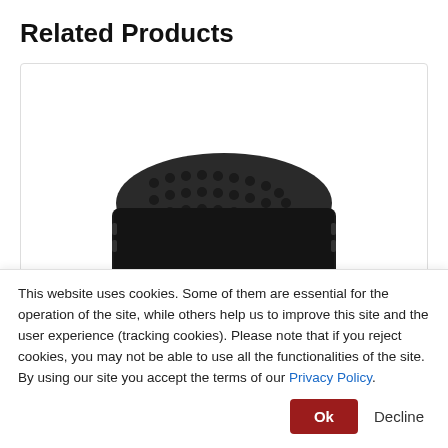Related Products
[Figure (photo): An open black hard-shell carrying case containing electronic instruments including what appears to be a tan/beige colored measurement or weapon-related device and accessories, displayed on a white background.]
Model 14C-RK
This website uses cookies. Some of them are essential for the operation of the site, while others help us to improve this site and the user experience (tracking cookies). Please note that if you reject cookies, you may not be able to use all the functionalities of the site. By using our site you accept the terms of our Privacy Policy.